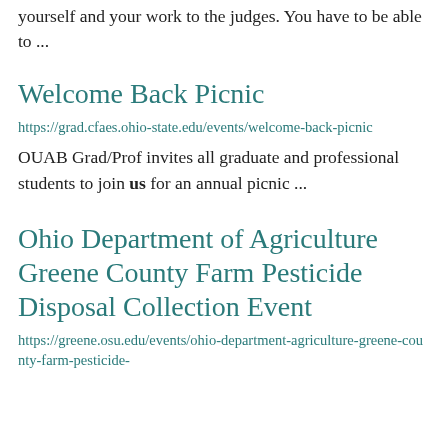yourself and your work to the judges. You have to be able to ...
Welcome Back Picnic
https://grad.cfaes.ohio-state.edu/events/welcome-back-picnic
OUAB Grad/Prof invites all graduate and professional students to join us for an annual picnic ...
Ohio Department of Agriculture Greene County Farm Pesticide Disposal Collection Event
https://greene.osu.edu/events/ohio-department-agriculture-greene-county-farm-pesticide-